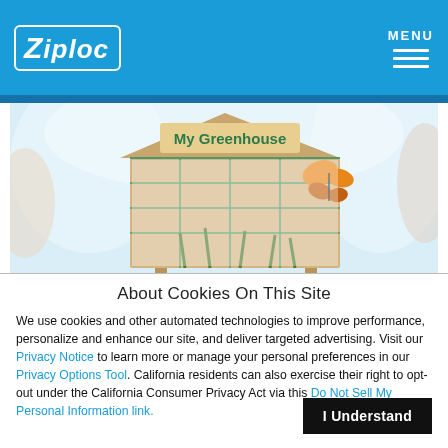[Figure (logo): Ziploc brand logo in white italic text inside a white rounded rectangle border, on blue background header]
[Figure (photo): Photo of a cardboard greenhouse craft labeled 'My Greenhouse' with a butterfly decoration and green plant shoots inside, on a light blue/white background]
About Cookies On This Site
We use cookies and other automated technologies to improve performance, personalize and enhance our site, and deliver targeted advertising. Visit our Privacy Notice to learn more or manage your personal preferences in our Privacy Options Tool. California residents can also exercise their right to opt-out under the California Consumer Privacy Act via this Do Not Sell My Personal Information link.
I Understand